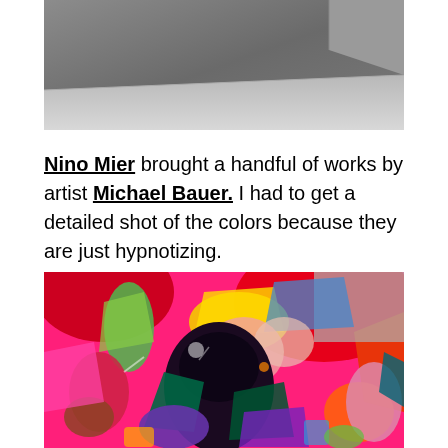[Figure (photo): Top portion of a photo showing a gallery floor and wall in muted gray tones]
Nino Mier brought a handful of works by artist Michael Bauer. I had to get a detailed shot of the colors because they are just hypnotizing.
[Figure (photo): Colorful and vibrant painting by Michael Bauer featuring abstract figures in vivid pinks, reds, greens, blues, purples, and blacks — densely layered and gestural]